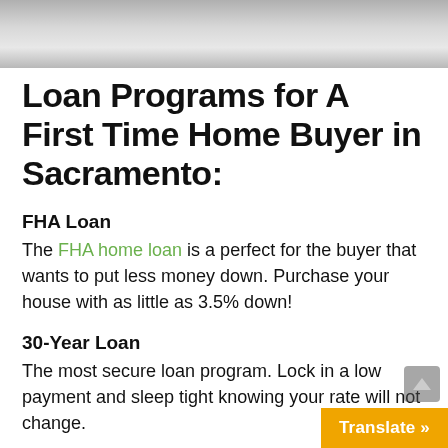[Figure (photo): Partial photo of a couch or blanket, gray tones, cropped at top of page]
Loan Programs for A First Time Home Buyer in Sacramento:
FHA Loan
The FHA home loan is a perfect for the buyer that wants to put less money down. Purchase your house with as little as 3.5% down!
30-Year Loan
The most secure loan program. Lock in a low payment and sleep tight knowing your rate will not change.